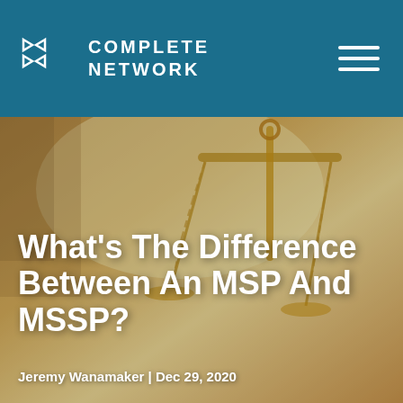COMPLETE NETWORK
[Figure (photo): Blurred background photo of a golden balance scale/justice scale against a warm golden-yellow background]
What’s The Difference Between An MSP And MSSP?
Jeremy Wanamaker | Dec 29, 2020